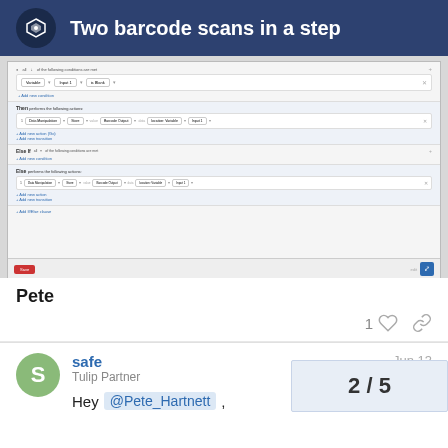Two barcode scans in a step
[Figure (screenshot): Screenshot of a workflow builder interface showing conditional logic with barcode scan variables, Then/Else actions with Data Manipulation steps, and a Save button at the bottom.]
Pete
1
safe
Tulip Partner
Jun 13
Hey @Pete_Hartnett ,
2 / 5